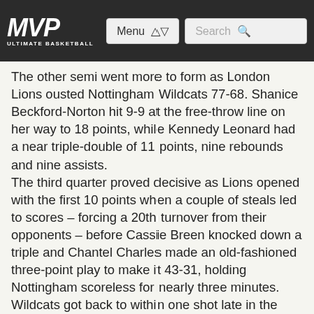MVP ULTIMATE BASKETBALL | Menu | Search
The other semi went more to form as London Lions ousted Nottingham Wildcats 77-68. Shanice Beckford-Norton hit 9-9 at the free-throw line on her way to 18 points, while Kennedy Leonard had a near triple-double of 11 points, nine rebounds and nine assists. The third quarter proved decisive as Lions opened with the first 10 points when a couple of steals led to scores – forcing a 20th turnover from their opponents – before Cassie Breen knocked down a triple and Chantel Charles made an old-fashioned three-point play to make it 43-31, holding Nottingham scoreless for nearly three minutes. Wildcats got back to within one shot late in the third, but Lions ended the period the way they had started it, scoring the last nine points to lead 58-46 on Ines Goryanova's three-pointer,